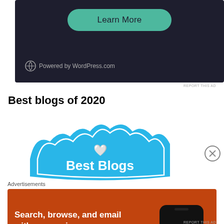[Figure (screenshot): Dark-themed WordPress.com advertisement block with a teal 'Learn More' pill button and WordPress logo with 'Powered by WordPress.com' text at the bottom left.]
REPORT THIS AD
Best blogs of 2020
[Figure (illustration): Blue wavy badge shape with a heart/dove icon and text 'Best Blogs' in white on a blue background.]
[Figure (screenshot): DuckDuckGo advertisement with orange background. Text reads 'Search, browse, and email with more privacy. All in One Free App' with a phone mockup showing DuckDuckGo logo.]
Advertisements
REPORT THIS AD